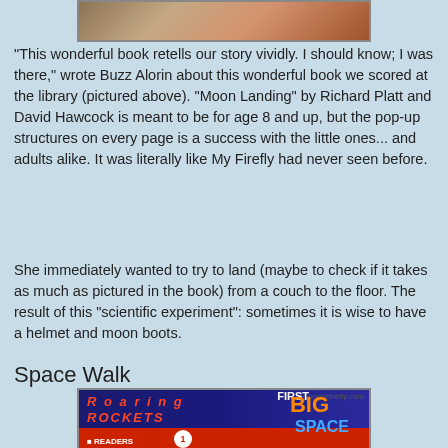[Figure (photo): Partial photo of a book shown at the top of the page, cropped]
"This wonderful book retells our story vividly. I should know; I was there," wrote Buzz Alorin about this wonderful book we scored at the library (pictured above). "Moon Landing" by Richard Platt and David Hawcock is meant to be for age 8 and up, but the pop-up structures on every page is a success with the little ones... and adults alike. It was literally like My Firefly had never seen before.
She immediately wanted to try to land (maybe to check if it takes as much as pictured in the book) from a couch to the floor. The result of this "scientific experiment": sometimes it is wise to have a helmet and moon boots.
Space Walk
[Figure (photo): Photo of children's space-themed books including 'Roaring Rockets', 'First Big Book of Space', with mybrightfirefly.com watermark]